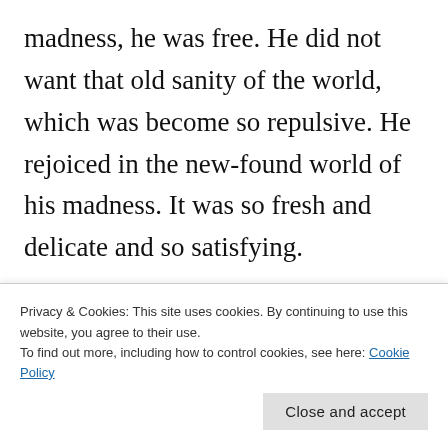madness, he was free. He did not want that old sanity of the world, which was become so repulsive. He rejoiced in the new-found world of his madness. It was so fresh and delicate and so satisfying.

As for the certain grief he felt at the same time, in his soul, that was only the remains of an old ethic, that bade a human-being adhere to humanity. But
Privacy & Cookies: This site uses cookies. By continuing to use this website, you agree to their use.
To find out more, including how to control cookies, see here: Cookie Policy
Close and accept